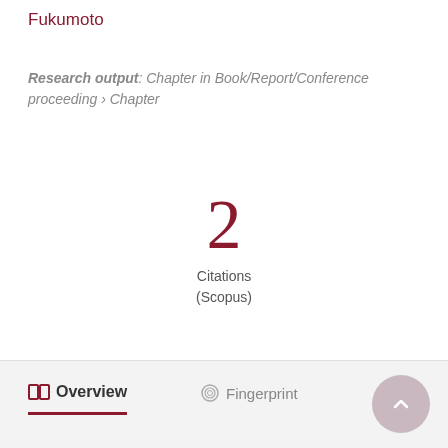Fukumoto
Research output: Chapter in Book/Report/Conference proceeding › Chapter
2
Citations
(Scopus)
Overview
Fingerprint